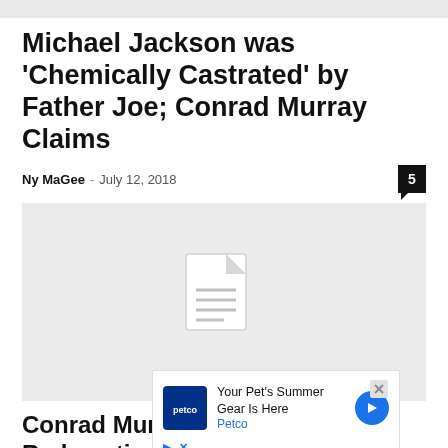Michael Jackson was 'Chemically Castrated' by Father Joe; Conrad Murray Claims
Ny MaGee · July 12, 2018
[Figure (illustration): Gray placeholder image with a document icon in the center, indicating a missing or unavailable image]
Conrad Murray Demands Rede...
EURPub...
[Figure (advertisement): Petco advertisement overlay: 'Your Pet's Summer Gear Is Here' with Petco logo and blue arrow button]